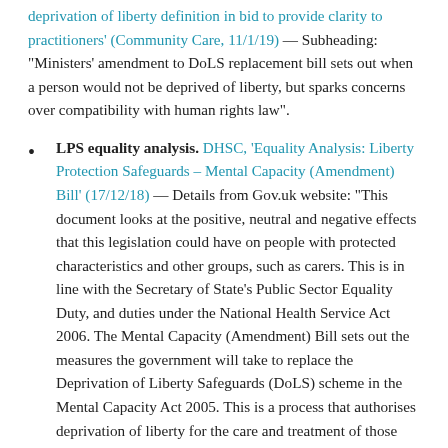deprivation of liberty definition in bid to provide clarity to practitioners' (Community Care, 11/1/19) — Subheading: "Ministers' amendment to DoLS replacement bill sets out when a person would not be deprived of liberty, but sparks concerns over compatibility with human rights law".
LPS equality analysis. DHSC, 'Equality Analysis: Liberty Protection Safeguards – Mental Capacity (Amendment) Bill' (17/12/18) — Details from Gov.uk website: "This document looks at the positive, neutral and negative effects that this legislation could have on people with protected characteristics and other groups, such as carers. This is in line with the Secretary of State's Public Sector Equality Duty, and duties under the National Health Service Act 2006. The Mental Capacity (Amendment) Bill sets out the measures the government will take to replace the Deprivation of Liberty Safeguards (DoLS) scheme in the Mental Capacity Act 2005. This is a process that authorises deprivation of liberty for the care and treatment of those..."